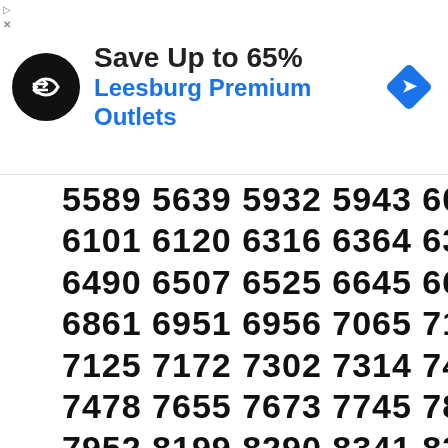[Figure (screenshot): Advertisement banner: black circular logo with double arrow symbol, text 'Save Up to 65%' in bold black, 'Leesburg Premium Outlets' in blue, blue diamond navigation icon on right. Small arrow and X icons top-left corner.]
5589 5639 5932 5943 6024
6101 6120 6316 6364 6388
6490 6507 6525 6645 6686
6861 6951 6956 7065 7122
7125 7172 7302 7314 7425
7478 7655 7673 7745 7816
7952 8199 8290 8341 8352
8488 8511 8531 8532 8534
8658 8705 8755 8783 8788
8845 8847 8937 9035 9140
9222 9263 9427 9529 9629
9638 9720 9768 9842 9899